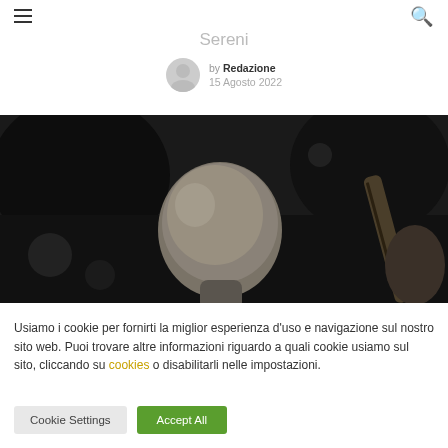≡  🔍
Sereni
by Redazione
15 Agosto 2022
[Figure (photo): Black and white photo of the back of a musician's head with a guitar in the background]
Usiamo i cookie per fornirti la miglior esperienza d'uso e navigazione sul nostro sito web. Puoi trovare altre informazioni riguardo a quali cookie usiamo sul sito, cliccando su cookies o disabilitarli nelle impostazioni.
Cookie Settings  Accept All